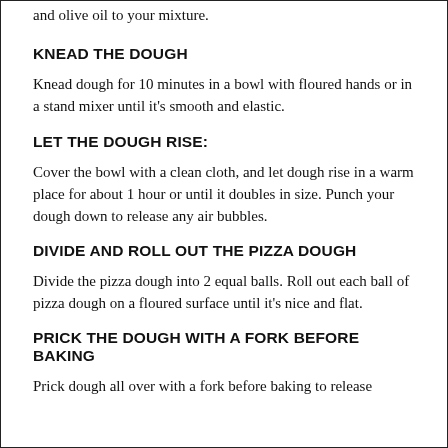and olive oil to your mixture.
KNEAD THE DOUGH
Knead dough for 10 minutes in a bowl with floured hands or in a stand mixer until it's smooth and elastic.
LET THE DOUGH RISE:
Cover the bowl with a clean cloth, and let dough rise in a warm place for about 1 hour or until it doubles in size. Punch your dough down to release any air bubbles.
DIVIDE AND ROLL OUT THE PIZZA DOUGH
Divide the pizza dough into 2 equal balls. Roll out each ball of pizza dough on a floured surface until it's nice and flat.
PRICK THE DOUGH WITH A FORK BEFORE BAKING
Prick dough all over with a fork before baking to release